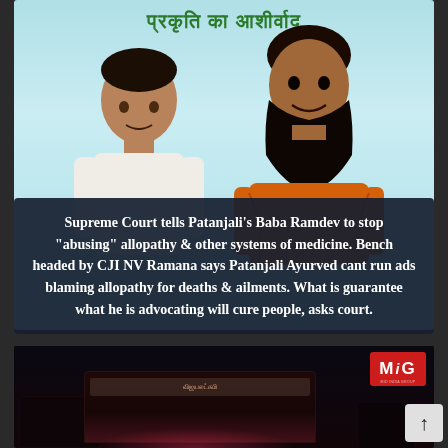[Figure (photo): Two men against a light blue background with Hindi text 'प्रकृति का आशीर्वाद' at top. One man in white on the left, one man in orange robe with a long beard on the right (Baba Ramdev). Dark semi-transparent text overlay reads: Supreme Court tells Patanjali's Baba Ramdev to stop "abusing" allopathy & other systems of medicine. Bench headed by CJI NV Ramana says Patanjali Ayurved cant run ads blaming allopathy for deaths & ailments. What is guarantee what he is advocating will cure people, asks court.]
Supreme Court tells Patanjali's Baba Ramdev to stop "abusing" allopathy & other systems of medicine. Bench headed by CJI NV Ramana says Patanjali Ayurved cant run ads blaming allopathy for deaths & ailments. What is guarantee what he is advocating will cure people, asks court.
[Figure (photo): Night-time photo of a bus and vehicles on a dark road. A red MIG logo appears in the top right corner. A scroll-up arrow button is visible at bottom right.]